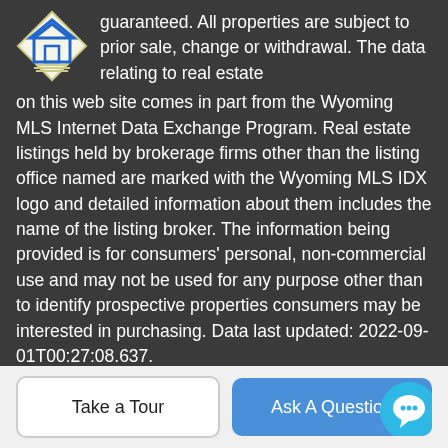guaranteed. All properties are subject to prior sale, change or withdrawal. The data relating to real estate on this web site comes in part from the Wyoming MLS Internet Data Exchange Program. Real estate listings held by brokerage firms other than the listing office named are marked with the Wyoming MLS IDX logo and detailed information about them includes the name of the listing broker. The information being provided is for consumers' personal, non-commercial use and may not be used for any purpose other than to identify prospective properties consumers may be interested in purchasing. Data last updated: 2022-09-01T00:27:08.637.
BoomTown! © 2022 | Terms of Use | Privacy Policy | Accessibility | DMCA | Listings Sitemap
Take a Tour
Ask A Question